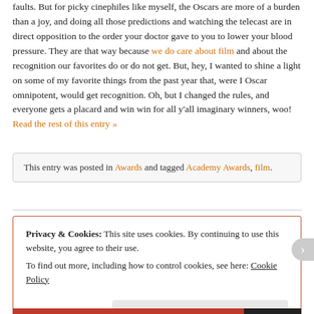faults. But for picky cinephiles like myself, the Oscars are more of a burden than a joy, and doing all those predictions and watching the telecast are in direct opposition to the order your doctor gave to you to lower your blood pressure. They are that way because we do care about film and about the recognition our favorites do or do not get. But, hey, I wanted to shine a light on some of my favorite things from the past year that, were I Oscar omnipotent, would get recognition. Oh, but I changed the rules, and everyone gets a placard and win win for all y'all imaginary winners, woo! Read the rest of this entry »
This entry was posted in Awards and tagged Academy Awards, film.
Privacy & Cookies: This site uses cookies. By continuing to use this website, you agree to their use. To find out more, including how to control cookies, see here: Cookie Policy
Close and accept